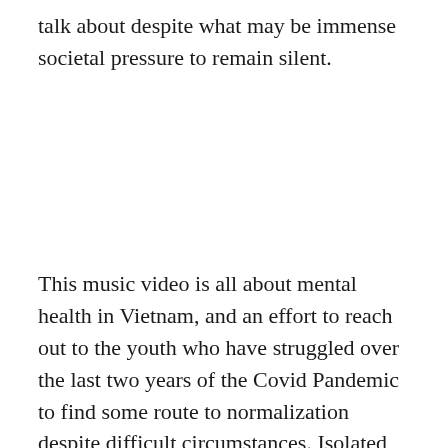talk about despite what may be immense societal pressure to remain silent.
This music video is all about mental health in Vietnam, and an effort to reach out to the youth who have struggled over the last two years of the Covid Pandemic to find some route to normalization despite difficult circumstances. Isolated